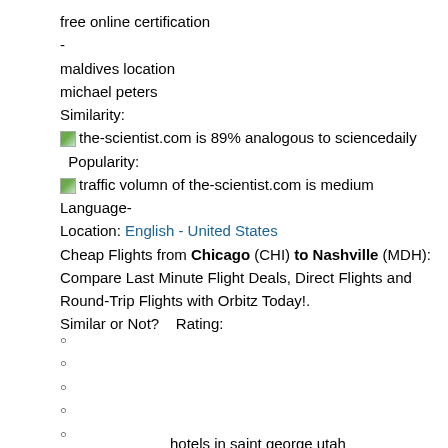free online certification
-
maldives location
michael peters
Similarity:
the-scientist.com is 89% analogous to sciencedaily
Popularity:
traffic volumn of the-scientist.com is medium  Language-Location: English - United States
Cheap Flights from Chicago (CHI) to Nashville (MDH): Compare Last Minute Flight Deals, Direct Flights and Round-Trip Flights with Orbitz Today!.
Similar or Not?    Rating:
hotels in saint george utah
nrg stock
dell msa20
-